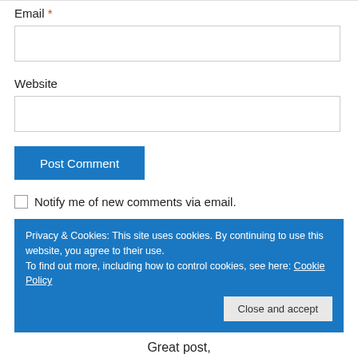Email *
[Figure (other): Empty email input field]
Website
[Figure (other): Empty website input field]
[Figure (other): Post Comment button (blue)]
Notify me of new comments via email.
Privacy & Cookies: This site uses cookies. By continuing to use this website, you agree to their use.
To find out more, including how to control cookies, see here: Cookie Policy
Close and accept
Great post,